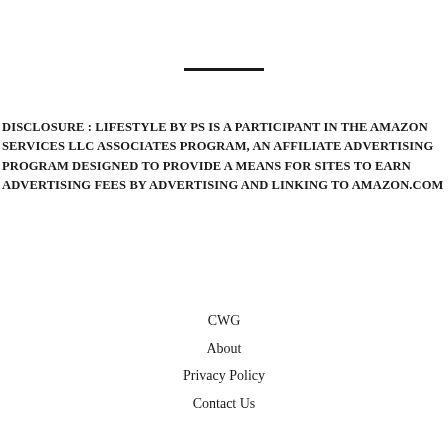DISCLOSURE : LIFESTYLE BY PS IS A PARTICIPANT IN THE AMAZON SERVICES LLC ASSOCIATES PROGRAM, AN AFFILIATE ADVERTISING PROGRAM DESIGNED TO PROVIDE A MEANS FOR SITES TO EARN ADVERTISING FEES BY ADVERTISING AND LINKING TO AMAZON.COM
CWG
About
Privacy Policy
Contact Us